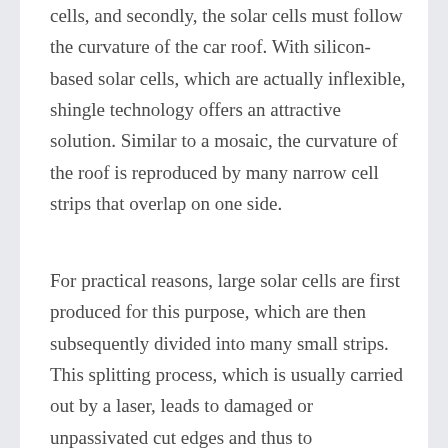cells, and secondly, the solar cells must follow the curvature of the car roof. With silicon-based solar cells, which are actually inflexible, shingle technology offers an attractive solution. Similar to a mosaic, the curvature of the roof is reproduced by many narrow cell strips that overlap on one side.
For practical reasons, large solar cells are first produced for this purpose, which are then subsequently divided into many small strips. This splitting process, which is usually carried out by a laser, leads to damaged or unpassivated cut edges and thus to recombination losses and a significant reduction in cell efficiency. These losses are all the higher the narrower the cell strips become and the higher the initial cell efficiency is